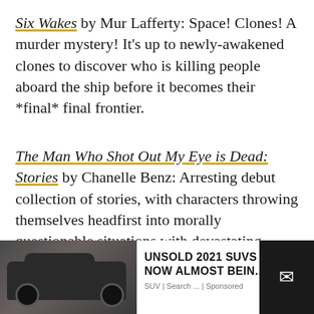Six Wakes by Mur Lafferty: Space! Clones! A murder mystery! It's up to newly-awakened clones to discover who is killing people aboard the ship before it becomes their *final* final frontier.
The Man Who Shot Out My Eye is Dead: Stories by Chanelle Benz: Arresting debut collection of stories, with characters throwing themselves headfirst into morally questionable situations with devastating effects.
The Second Mrs. Hockaday by Susan Rivers: A new [ad overlaps] nt son and the
[Figure (photo): Advertisement overlay showing a dark SUV/Land Rover vehicle on the left side, with text 'UNSOLD 2021 SUVS NOW ALMOST BEIN...' and 'SUV | Search ... | Sponsored' on white background, and a dark panel with envelope/email icon on the right.]